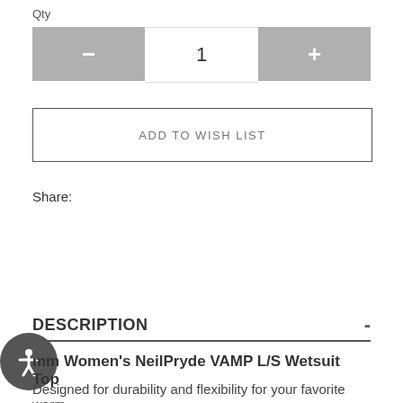Qty
— 1 +
ADD TO WISH LIST
Share:
DESCRIPTION
mm Women's NeilPryde VAMP L/S Wetsuit Top
Designed for durability and flexibility for your favorite warm